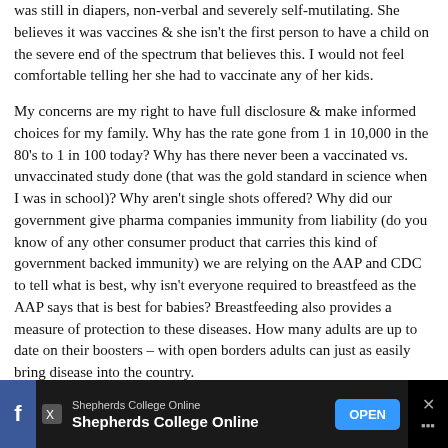was still in diapers, non-verbal and severely self-mutilating. She believes it was vaccines & she isn't the first person to have a child on the severe end of the spectrum that believes this. I would not feel comfortable telling her she had to vaccinate any of her kids.
My concerns are my right to have full disclosure & make informed choices for my family. Why has the rate gone from 1 in 10,000 in the 80's to 1 in 100 today? Why has there never been a vaccinated vs. unvaccinated study done (that was the gold standard in science when I was in school)? Why aren't single shots offered? Why did our government give pharma companies immunity from liability (do you know of any other consumer product that carries this kind of government backed immunity) we are relying on the AAP and CDC to tell what is best, why isn't everyone required to breastfeed as the AAP says that is best for babies? Breastfeeding also provides a measure of protection to these diseases. How many adults are up to date on their boosters – with open borders adults can just as easily bring disease into the country.
With over 100 new vaccines in the developmental pipeline, where do you decide enough is enough and will you have the right to
[Figure (other): Advertisement banner for Shepherds College Online with Facebook icon, X/Twitter badge, blue OPEN button, and close button]